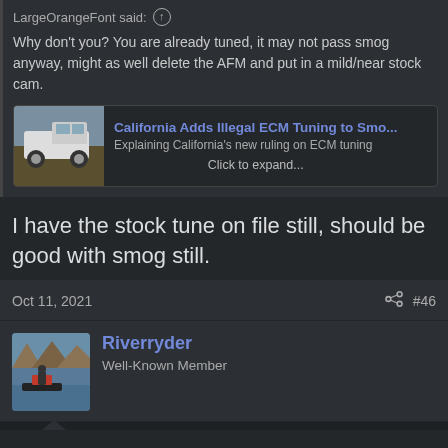LargeOrangeFont said: ↑
Why don't you? You are already tuned, it may not pass smog anyway, might as well delete the AFM and put in a mild/near stock cam.
[Figure (screenshot): Link preview card: image of a truck on the left, title 'California Adds Illegal ECM Tuning to Smo...', subtitle 'Explaining California's new ruling on ECM tuning', and 'Click to expand...' below]
I have the stock tune on file still, should be good with smog still.
Oct 11, 2021
#46
Riverryder
Well-Known Member
what did the tune do?(dont know much about tunes)